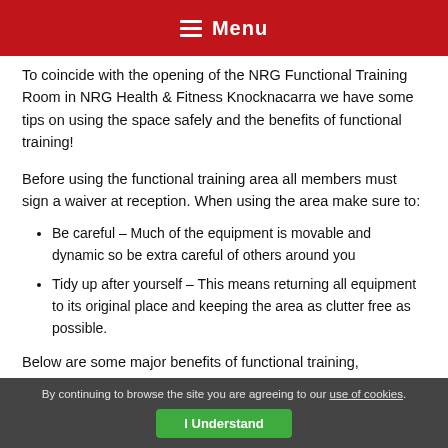Menu
To coincide with the opening of the NRG Functional Training Room in NRG Health & Fitness Knocknacarra we have some tips on using the space safely and the benefits of functional training!
Before using the functional training area all members must sign a waiver at reception. When using the area make sure to:
Be careful – Much of the equipment is movable and dynamic so be extra careful of others around you
Tidy up after yourself – This means returning all equipment to its original place and keeping the area as clutter free as possible.
Below are some major benefits of functional training, strengthing not only our bodies but also our philosophy that functional training
By continuing to browse the site you are agreeing to our use of cookies. I Understand